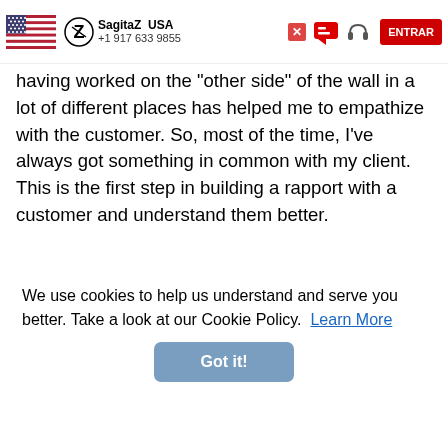SagitaZ USA +1 917 633 9855
having worked on the "other side" of the wall in a lot of different places has helped me to empathize with the customer. So, most of the time, I've always got something in common with my client. This is the first step in building a rapport with a customer and understand them better.
Adhya: How did you go about marketing your brand and landing your first 5 clients for the partnership?
José: Mexico, Argentina, USA, Spain, Colombia were the first countries we started to work in... At this time, we focused on building [content continues behind overlay]
[Figure (illustration): HOT NEWS badge with megaphone icon in green]
We use cookies to help us understand and serve you better. Take a look at our Cookie Policy.  Learn More
Got it!